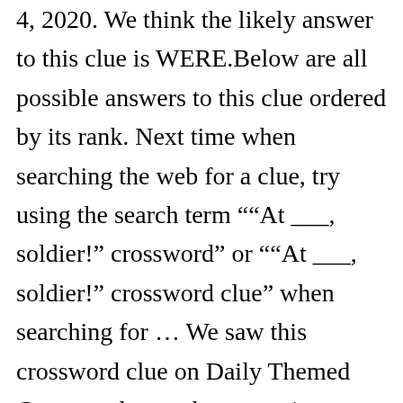4, 2020. We think the likely answer to this clue is WERE.Below are all possible answers to this clue ordered by its rank. Next time when searching the web for a clue, try using the search term "“At ___, soldier!” crossword” or "“At ___, soldier!” crossword clue” when searching for … We saw this crossword clue on Daily Themed Crossword game but sometimes you can find same questions during you play another crosswords. We Soldiers 2002 Mel Gibson film Crossword Clue Answers are listed below and every time we find a new solution for this clue we add it on the answers list.